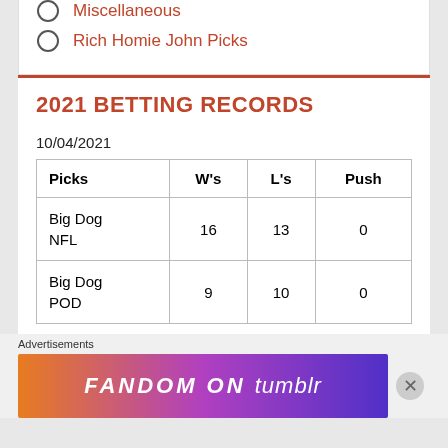Miscellaneous
Rich Homie John Picks
2021 BETTING RECORDS
10/04/2021
| Picks | W's | L's | Push |
| --- | --- | --- | --- |
| Big Dog NFL | 16 | 13 | 0 |
| Big Dog POD | 9 | 10 | 0 |
Advertisements
[Figure (infographic): Fandom on Tumblr advertisement banner with colorful gradient background]